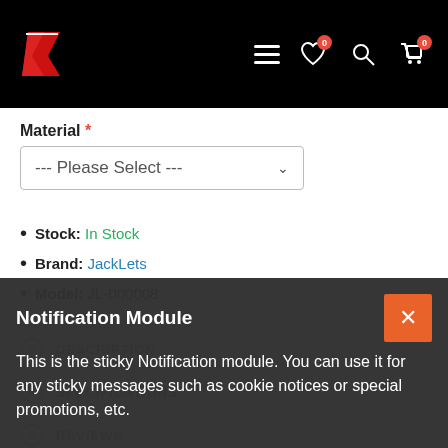JackLets store navigation header with logo, hamburger menu, wishlist (0), search, and cart (0)
Material *
--- Please Select ---
Stock: In Stock
Brand: JackLets
Model: JL-000008
DESCRIPTION
SPECIFICATIONS
REVIEWS
SIZE CHART
Notification Module
This is the sticky Notification module. You can use it for any sticky messages such as cookie notices or special promotions, etc.